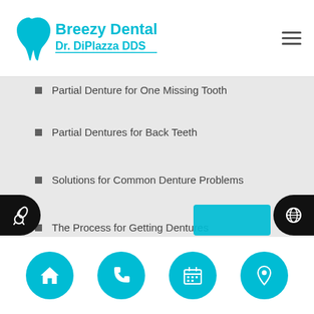Breezy Dental Dr. DiPlazza DDS
Partial Denture for One Missing Tooth
Partial Dentures for Back Teeth
Solutions for Common Denture Problems
The Process for Getting Dentures
What Do I Do If I Damage My Dentures
What to Expect When Getting Dentures
Find a Dentist in Clearwater, FL
Home | Phone | Calendar | Location